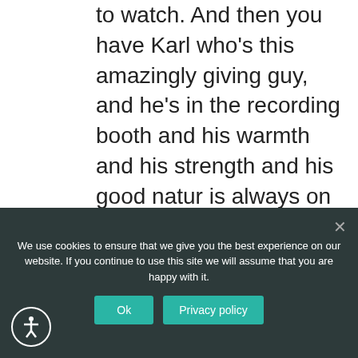to watch. And then you have Karl who's this amazingly giving guy, and he's in the recording booth and his warmth and his strength and his good natur is always on display and coming through. And he was an unbelievable workhorse for us because obviously he has a lot of lines, but any sound that Jacob makes is basically Karl making that sound. So we have tons of vocalizations and efforts and things that he needs to provide
We use cookies to ensure that we give you the best experience on our website. If you continue to use this site we will assume that you are happy with it.